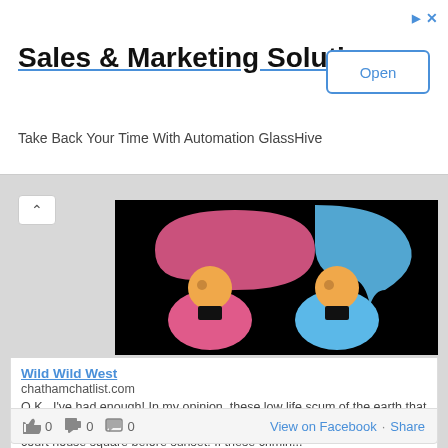[Figure (screenshot): Advertisement banner for Sales & Marketing Solutions / GlassHive with an Open button]
Sales & Marketing Solutions
Take Back Your Time With Automation GlassHive
[Figure (illustration): Black background image showing two cartoon avatar figures: a pink female avatar on the left with a pink speech bubble, and a blue male avatar on the right with a blue speech bubble]
Wild Wild West
chathamchatlist.com
O.K., I've had enough! In my opinion, these low life,scum of the earth that murder our children and our deputies should be caught and hung on the court house square before sunset! If these crimin...